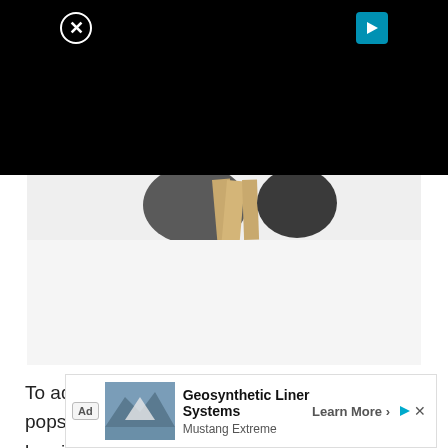[Figure (photo): Black video overlay area with close button (X circle) top-left and play button (triangle) top-right]
[Figure (photo): Partial photo of popsicle sticks and rocks on a white background, showing a craft cottage project]
To add a roof to the cottage, cut another popsicle stick in half and glue both halves leaning together on top of the pot. Soak a small piece of moss...pops...
[Figure (other): Advertisement banner: Ad label, image of quarry/liner system, text 'Geosynthetic Liner Systems' by Mustang Extreme with 'Learn More' button]